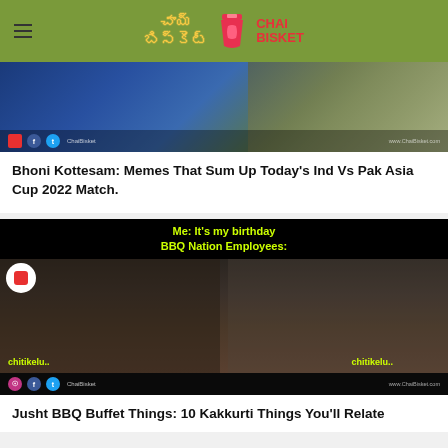Chai Bisket
[Figure (photo): Cricket match photo showing a player in blue jersey, partially visible. Social media icons visible at bottom left. Watermark 'www.ChaiBisket.com' at bottom right.]
Bhoni Kottesam: Memes That Sum Up Today's Ind Vs Pak Asia Cup 2022 Match.
[Figure (photo): Meme image with dark background. Top text in yellow-green: 'Me: It's my birthday / BBQ Nation Employees:'. Below shows a crowd scene with people dancing/celebrating. Bottom left and right text: 'chitikelu..' in yellow-green. Chai Bisket logo circle at top left. Social media icons at bottom left. Watermark at bottom right.]
Jusht BBQ Buffet Things: 10 Kakkurti Things You'll Relate